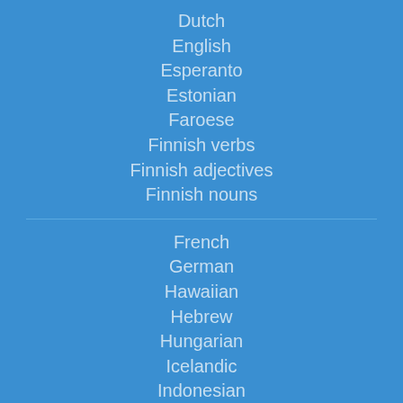Dutch
English
Esperanto
Estonian
Faroese
Finnish verbs
Finnish adjectives
Finnish nouns
French
German
Hawaiian
Hebrew
Hungarian
Icelandic
Indonesian
Italian
Japanese
Latvian
Lithuanian